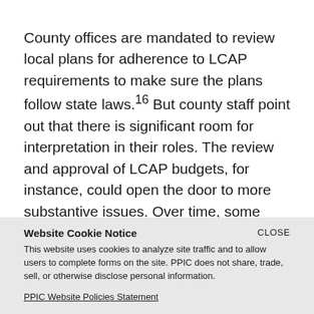County offices are mandated to review local plans for adherence to LCAP requirements to make sure the plans follow state laws.16 But county staff point out that there is significant room for interpretation in their roles. The review and approval of LCAP budgets, for instance, could open the door to more substantive issues. Over time, some county offices may use this ambiguity to address the effectiveness of district plans.
Website Cookie Notice
This website uses cookies to analyze site traffic and to allow users to complete forms on the site. PPIC does not share, trade, sell, or otherwise disclose personal information.
PPIC Website Policies Statement